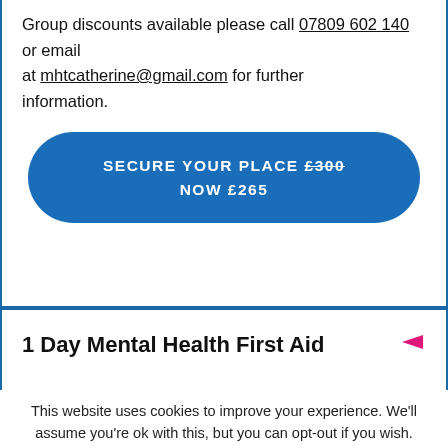Group discounts available please call 07809 602 140 or email at mhtcatherine@gmail.com for further information.
SECURE YOUR PLACE £300 NOW £265
1 Day Mental Health First Aid
This website uses cookies to improve your experience. We'll assume you're ok with this, but you can opt-out if you wish.
Cookie settings  ACCEPT